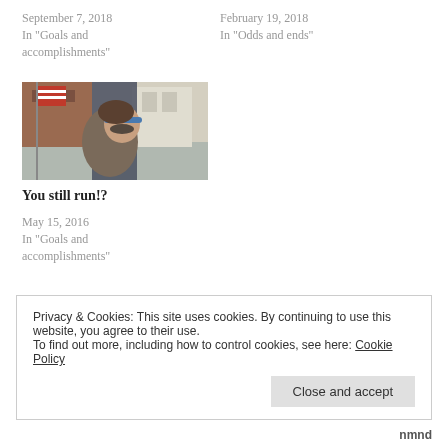September 7, 2018
In "Goals and accomplishments"
February 19, 2018
In "Odds and ends"
[Figure (photo): A person wearing a blue headband and sunglasses, viewed from the side, outside near buildings and a flag.]
You still run!?
May 15, 2016
In "Goals and accomplishments"
Privacy & Cookies: This site uses cookies. By continuing to use this website, you agree to their use.
To find out more, including how to control cookies, see here: Cookie Policy
Close and accept
nmnd